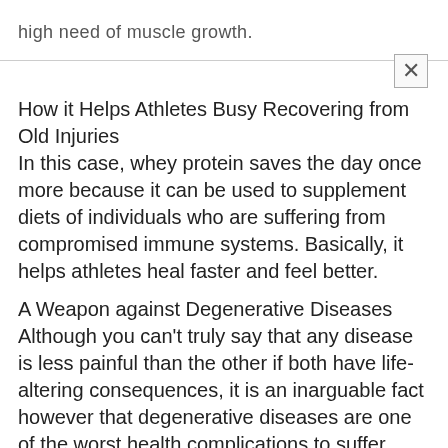high need of muscle growth.
How it Helps Athletes Busy Recovering from Old Injuries
In this case, whey protein saves the day once more because it can be used to supplement diets of individuals who are suffering from compromised immune systems. Basically, it helps athletes heal faster and feel better.
A Weapon against Degenerative Diseases
Although you can't truly say that any disease is less painful than the other if both have life-altering consequences, it is an inarguable fact however that degenerative diseases are one of the worst health complications to suffer from. These illnesses tend to subject people to a protracted form of suffering and with